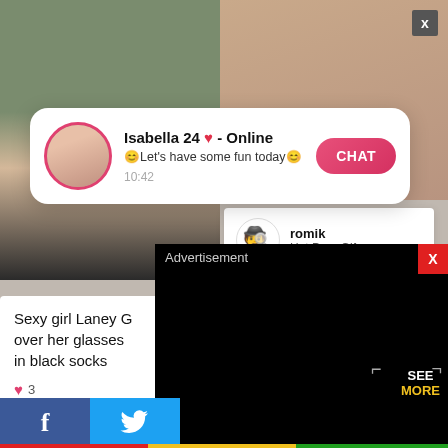[Figure (screenshot): Screenshot of adult content website with notification popup, post card, and advertisement overlay]
Isabella 24 ♥ - Online
😊Let's have some fun today😊
10:42
CHAT
romik
Hot Porn Gifs
Sexy girl Laney G over her glasses in black socks
♥ 3
Gaba24
Girls in Gl
Advertisement
X
SEE MORE